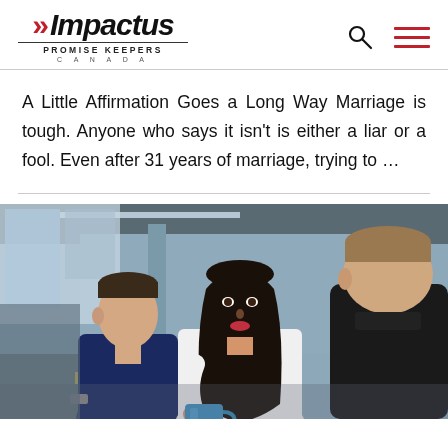Impactus PROMISE KEEPERS CANADA
A Little Affirmation Goes a Long Way Marriage is tough. Anyone who says it isn't is either a liar or a fool. Even after 31 years of marriage, trying to …
[Figure (photo): Office scene with three people: a young man with short hair on the left, a woman with long dark hair in the center holding a blue mug, and a man facing away on the right. Background shows an open office environment with blue walls.]